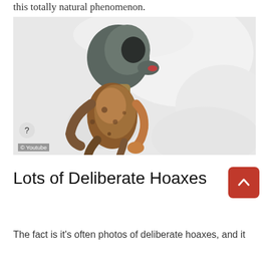this totally natural phenomenon.
[Figure (photo): A strange creature, possibly a dead mummified animal or alien-like figure, lying on a snowy white surface. The creature has a large rounded head, a skeletal torso with brownish-orange coloring, and thin limbs. The image appears to be a video screenshot from YouTube, with a question mark button visible in the lower left corner and a YouTube copyright watermark.]
Lots of Deliberate Hoaxes
The fact is it's often photos of deliberate hoaxes, and it